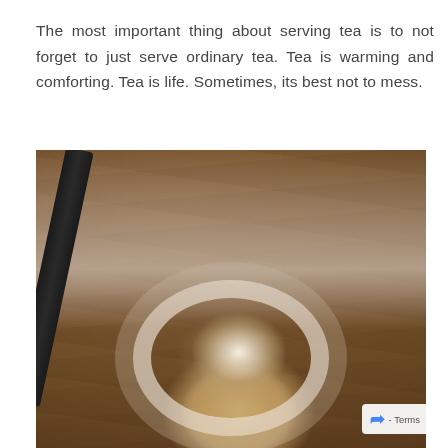The most important thing about serving tea is to not forget to just serve ordinary tea. Tea is warming and comforting. Tea is life. Sometimes, its best not to mess.
[Figure (photo): Overhead/top-down photograph of a white ceramic cup of tea on a rustic wooden table, with liquid being poured into the cup creating bubbles, and a dark diagonal object (spoon or straw) visible at the top left.]